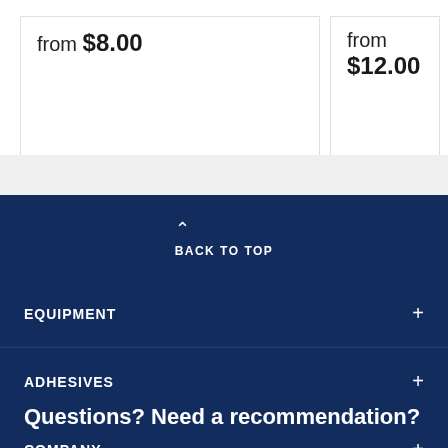from $8.00
from $12.00
BACK TO TOP
EQUIPMENT +
ADHESIVES +
COMPANY +
Questions? Need a recommendation?